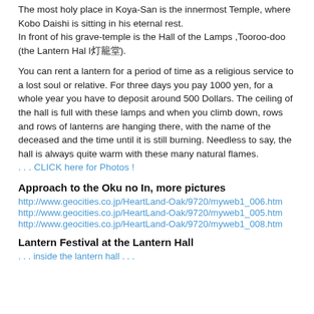The most holy place in Koya-San is the innermost Temple, where Kobo Daishi is sitting in his eternal rest.
In front of his grave-temple is the Hall of the Lamps ,Tooroo-doo (the Lantern Hal l灯籠堂).
You can rent a lantern for a period of time as a religious service to a lost soul or relative. For three days you pay 1000 yen, for a whole year you have to deposit around 500 Dollars. The ceiling of the hall is full with these lamps and when you climb down, rows and rows of lanterns are hanging there, with the name of the deceased and the time until it is still burning. Needless to say, the hall is always quite warm with these many natural flames.
. . . CLICK here for Photos !
Approach to the Oku no In, more pictures
http://www.geocities.co.jp/HeartLand-Oak/9720/myweb1_006.htm
http://www.geocities.co.jp/HeartLand-Oak/9720/myweb1_005.htm
http://www.geocities.co.jp/HeartLand-Oak/9720/myweb1_008.htm
Lantern Festival at the Lantern Hall
...inside the lantern hall...